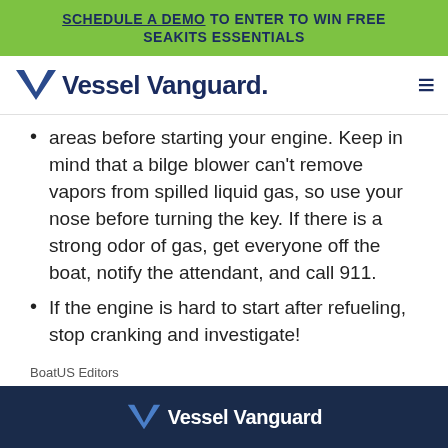SCHEDULE A DEMO TO ENTER TO WIN FREE SEAKITS ESSENTIALS
[Figure (logo): Vessel Vanguard logo with V emblem and hamburger menu icon]
areas before starting your engine. Keep in mind that a bilge blower can't remove vapors from spilled liquid gas, so use your nose before turning the key. If there is a strong odor of gas, get everyone off the boat, notify the attendant, and call 911.
If the engine is hard to start after refueling, stop cranking and investigate!
BoatUS Editors
Contributor, BoatUS Magazine
Vessel Vanguard